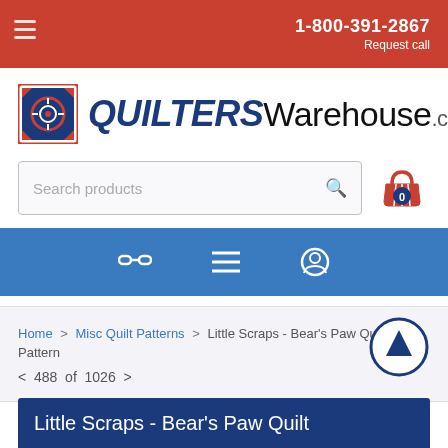1-800-391-2867
Request call
[Figure (logo): QuiltersWarehouse.com logo with decorative icon]
Search products
[Figure (infographic): Navigation bar with chain link, menu, and user account icons]
Home > Misc Quilt Patterns > Little Scraps - Bear's Paw Quilt Pattern
< 488 of 1026 >
Little Scraps - Bear's Paw Quilt